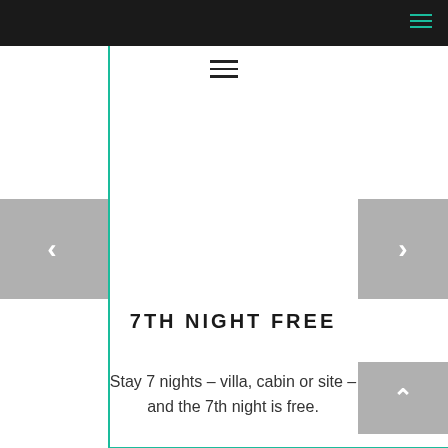Navigation bar with hamburger menu icon (teal)
[Figure (screenshot): Website screenshot showing a promotional slider. A dark top navigation bar with teal hamburger icon, a centered hamburger icon below, teal vertical and horizontal border lines, left and right grey navigation arrows, a scroll-up button, and promotional text.]
7TH NIGHT FREE
Stay 7 nights – villa, cabin or site – and the 7th night is free.